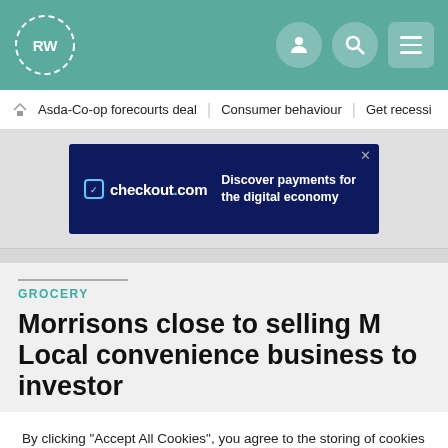RW site header with logo and navigation icons
Asda-Co-op forecourts deal | Consumer behaviour | Get recessi
[Figure (screenshot): checkout.com advertisement banner: 'Discover payments for the digital economy']
GROCERY
Morrisons close to selling M Local convenience business to investor
By clicking “Accept All Cookies”, you agree to the storing of cookies on your device to enhance site navigation, analyze site usage, and assist in our marketing efforts. For more detailed information about the cookies we use, see our Cookies Policy.